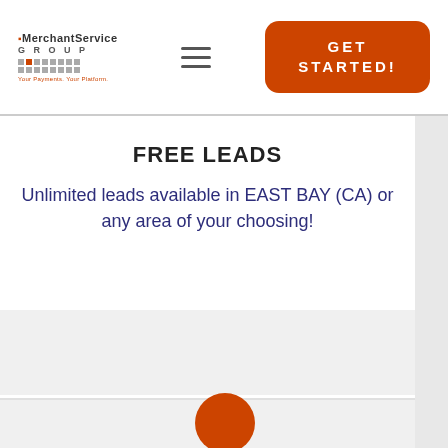[Figure (logo): MerchantService Group logo with grid of small squares and tagline: Your Payments. Your Platform.]
[Figure (other): Hamburger menu icon (three horizontal lines)]
[Figure (other): Orange rounded rectangle button with text GET STARTED!]
FREE LEADS
Unlimited leads available in EAST BAY (CA) or any area of your choosing!